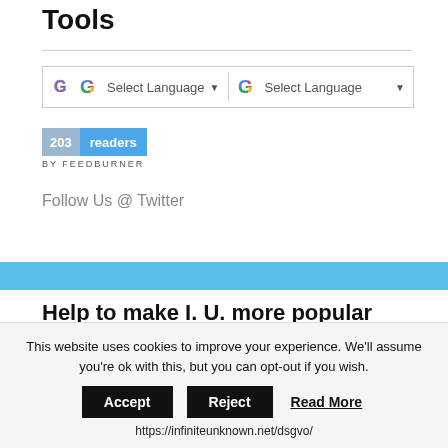Tools
[Figure (screenshot): Google Translate widget showing two 'Select Language' dropdowns side by side inside a bordered box]
[Figure (screenshot): FeedBurner badge showing '203 readers' with blue background and 'BY FEEDBURNER' text below]
Follow Us @ Twitter
Help to make I. U. more popular
This website uses cookies to improve your experience. We'll assume you're ok with this, but you can opt-out if you wish.
Accept  Reject  Read More
https://infiniteunknown.net/dsgvo/